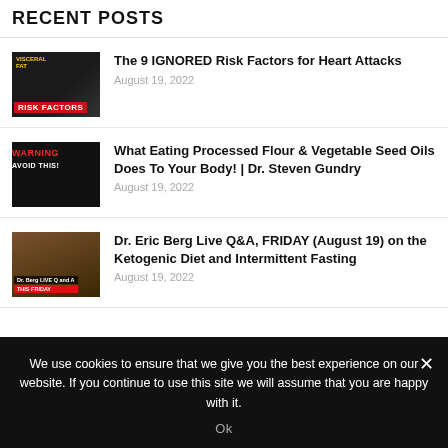RECENT POSTS
The 9 IGNORED Risk Factors for Heart Attacks
August 19, 2022
What Eating Processed Flour & Vegetable Seed Oils Does To Your Body! | Dr. Steven Gundry
August 19, 2022
Dr. Eric Berg Live Q&A, FRIDAY (August 19) on the Ketogenic Diet and Intermittent Fasting
August 19, 2022
We use cookies to ensure that we give you the best experience on our website. If you continue to use this site we will assume that you are happy with it.
Ok